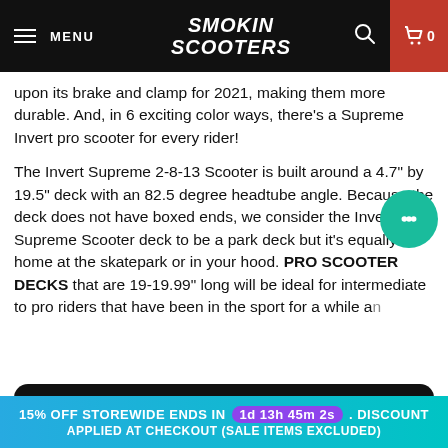MENU | SMOKIN SCOOTERS | 🔍 | 🛒 0
upon its brake and clamp for 2021, making them more durable. And, in 6 exciting color ways, there's a Supreme Invert pro scooter for every rider!
The Invert Supreme 2-8-13 Scooter is built around a 4.7" by 19.5" deck with an 82.5 degree headtube angle. Because the deck does not have boxed ends, we consider the Invert Supreme Scooter deck to be a park deck but it's equally at home at the skatepark or in your hood. PRO SCOOTER DECKS that are 19-19.99" long will be ideal for intermediate to pro riders that have been in the sport for a while and those expert riders that need a little more foot room. The
We use cookies to improve your experience and track website usage.
15% OFF STOREWIDE ENDS IN 1d 13h 45m 2s. DISCOUNT APPLIED AT CHECKOUT (SALE ITEMS EXCLUDED)